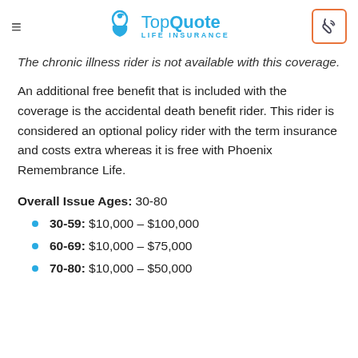TopQuote LIFE INSURANCE
The chronic illness rider is not available with this coverage.
An additional free benefit that is included with the coverage is the accidental death benefit rider. This rider is considered an optional policy rider with the term insurance and costs extra whereas it is free with Phoenix Remembrance Life.
Overall Issue Ages: 30-80
30-59: $10,000 – $100,000
60-69: $10,000 – $75,000
70-80: $10,000 – $50,000